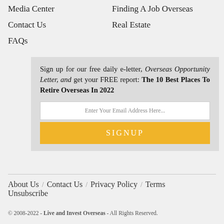Media Center
Finding A Job Overseas
Contact Us
Real Estate
FAQs
Sign up for our free daily e-letter, Overseas Opportunity Letter, and get your FREE report: The 10 Best Places To Retire Overseas In 2022
Enter Your Email Address Here...
SIGNUP
About Us / Contact Us / Privacy Policy / Terms
Unsubscribe
© 2008-2022 - Live and Invest Overseas - All Rights Reserved.